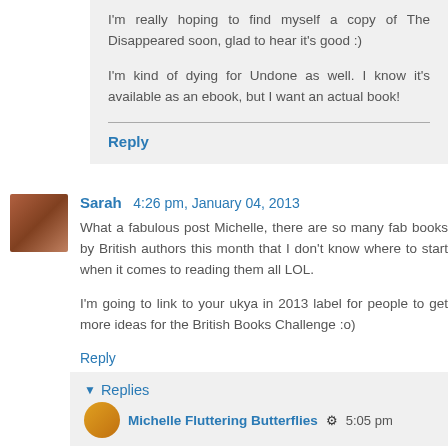I'm really hoping to find myself a copy of The Disappeared soon, glad to hear it's good :)
I'm kind of dying for Undone as well. I know it's available as an ebook, but I want an actual book!
Reply
Sarah  4:26 pm, January 04, 2013
What a fabulous post Michelle, there are so many fab books by British authors this month that I don't know where to start when it comes to reading them all LOL.
I'm going to link to your ukya in 2013 label for people to get more ideas for the British Books Challenge :o)
Reply
Replies
Michelle Fluttering Butterflies   5:05 pm